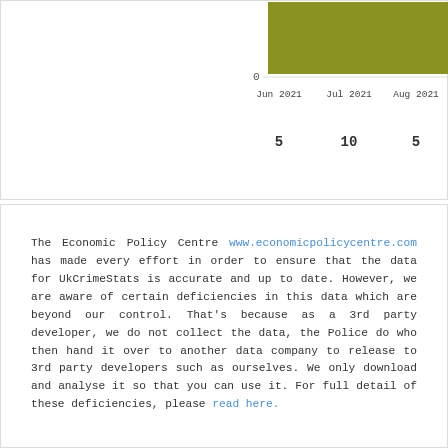[Figure (bar-chart): Monthly crime counts]
The Economic Policy Centre www.economicpolicycentre.com has made every effort in order to ensure that the data for UkCrimeStats is accurate and up to date. However, we are aware of certain deficiencies in this data which are beyond our control. That's because as a 3rd party developer, we do not collect the data, the Police do who then hand it over to another data company to release to 3rd party developers such as ourselves. We only download and analyse it so that you can use it. For full detail of these deficiencies, please read here.